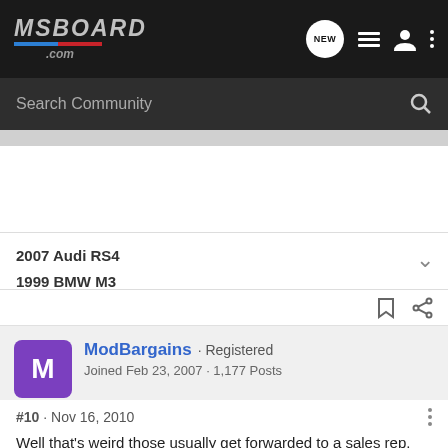MSBOARD.com — Search Community
2007 Audi RS4
1999 BMW M3
ModBargains · Registered
Joined Feb 23, 2007 · 1,177 Posts
#10 · Nov 16, 2010
Well that's weird those usually get forwarded to a sales rep. But